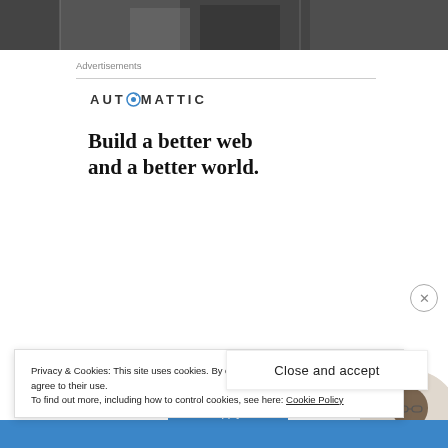[Figure (photo): Black and white photo of people, cropped at top of page]
Advertisements
[Figure (logo): AUTOMATTIC logo with compass icon replacing the O]
Build a better web and a better world.
[Figure (illustration): Blue Apply button with circular photo of a man on the right]
Privacy & Cookies: This site uses cookies. By continuing to use this website, you agree to their use.
To find out more, including how to control cookies, see here: Cookie Policy
Close and accept